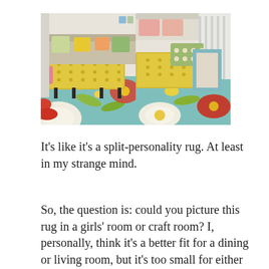[Figure (photo): Two side-by-side photos of a colorful floral teal rug with a yellow tufted ottoman. Left photo shows a wider living room view with a sofa and colorful throw pillows. Right photo shows a close-up angled view of the ottoman and a blue-framed chair with a green patterned pillow.]
It's like it's a split-personality rug. At least in my strange mind.
So, the question is: could you picture this rug in a girls' room or craft room? I, personally, think it's a better fit for a dining or living room, but it's too small for either in the new house.